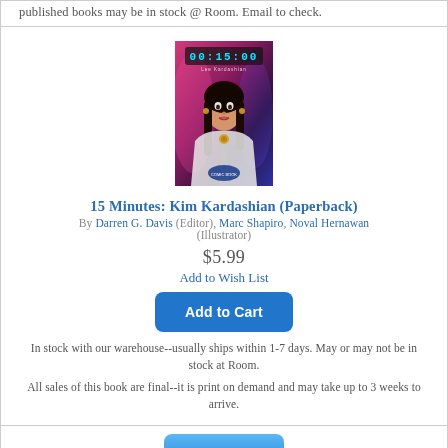published books may be in stock @ Room. Email to check.
[Figure (illustration): Book cover for '15 Minutes: Kim Kardashian' showing a stylized illustrated portrait of a dark-haired woman in a white jacket against a pink/purple background with a digital clock display at the top reading 00:15:00]
15 Minutes: Kim Kardashian (Paperback)
By Darren G. Davis (Editor), Marc Shapiro, Noval Hernawan (Illustrator)
$5.99
Add to Wish List
Add to Cart
In stock with our warehouse--usually ships within 1-7 days. May or may not be in stock at Room.
All sales of this book are final--it is print on demand and may take up to 3 weeks to arrive.